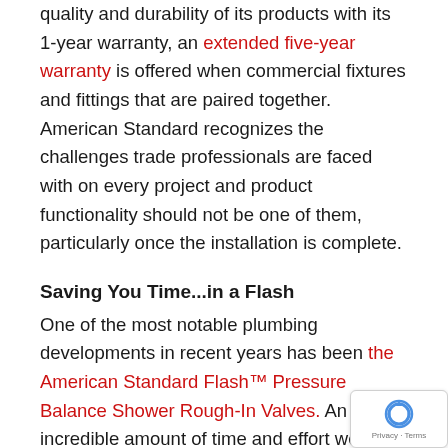quality and durability of its products with its 1-year warranty, an extended five-year warranty is offered when commercial fixtures and fittings that are paired together. American Standard recognizes the challenges trade professionals are faced with on every project and product functionality should not be one of them, particularly once the installation is complete.
Saving You Time...in a Flash
One of the most notable plumbing developments in recent years has been the American Standard Flash™ Pressure Balance Shower Rough-In Valves. An incredible amount of time and effort went into the development of Flash. Product engineers visited plumbers, showrooms, and representatives in the field and on job-sites to understand exactly what important to them in a valve. Flash™ delivers time-sav flexible installation by providing a variety of pipe connection
[Figure (other): reCAPTCHA badge with Privacy and Terms text]